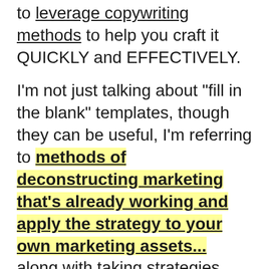to leverage copywriting methods to help you craft it QUICKLY and EFFECTIVELY.
I'm not just talking about "fill in the blank" templates, though they can be useful, I'm referring to methods of deconstructing marketing that's already working and apply the strategy to your own marketing assets... along with taking strategies used for hundreds of years and systematize them into your business.
In short...